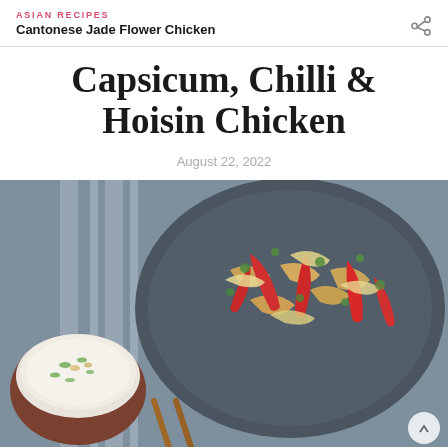ASIAN RECIPES
Cantonese Jade Flower Chicken
Capsicum, Chilli & Hoisin Chicken
August 22, 2022
[Figure (photo): Overhead photo of a stir-fry dish with capsicum, chilli, chicken and herbs on a dark blue-grey plate with chopsticks resting on it, alongside a small brown bowl of steamed rice garnished with sliced spring onions and fried garlic, set on a striped grey fabric background.]